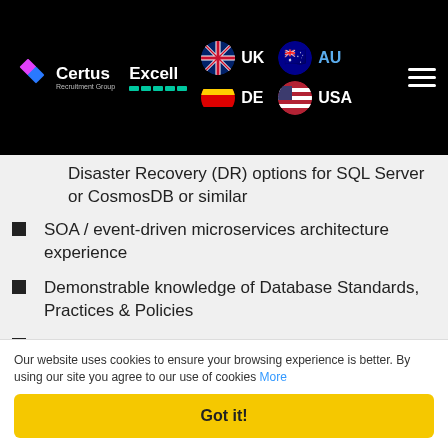Certus Recruitment Group | Excell | UK | DE | AU | USA
Disaster Recovery (DR) options for SQL Server or CosmosDB or similar
SOA / event-driven microservices architecture experience
Demonstrable knowledge of Database Standards, Practices & Policies
Azure MS certifications a plus
Experience with any MS Azure products highly regarded (Service Bus, Functions, Container Registry,
Our website uses cookies to ensure your browsing experience is better. By using our site you agree to our use of cookies More
Got it!